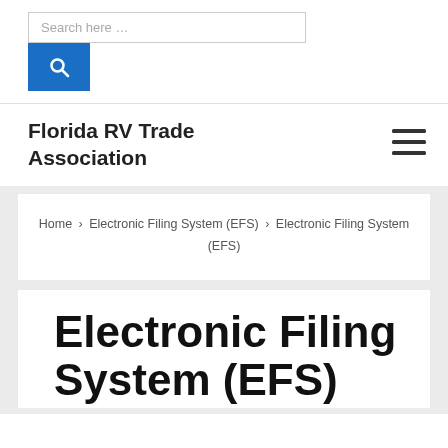[Figure (screenshot): Search input box with placeholder text 'Search here …' and a blue search button with magnifying glass icon below it]
Florida RV Trade Association
[Figure (other): Hamburger menu icon (three horizontal lines)]
Home › Electronic Filing System (EFS) › Electronic Filing System (EFS)
Electronic Filing System (EFS)